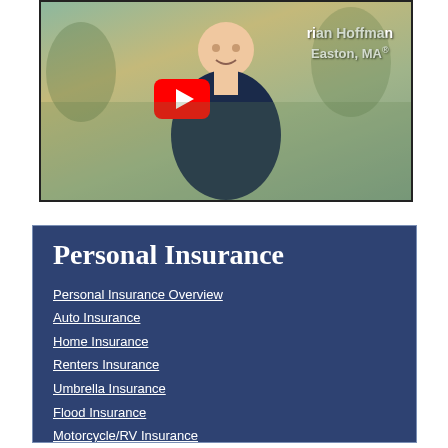[Figure (screenshot): YouTube video thumbnail showing a man in a navy polo shirt outdoors with text overlay 'rian Hoffman Easton, MA' and a YouTube play button]
Personal Insurance
Personal Insurance Overview
Auto Insurance
Home Insurance
Renters Insurance
Umbrella Insurance
Flood Insurance
Motorcycle/RV Insurance
Boat & Marine Insurance
Car Insurance for Teens